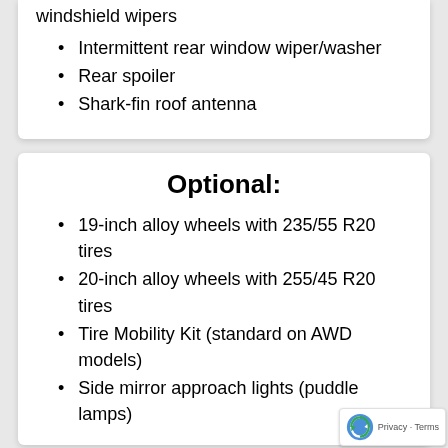windshield wipers
Intermittent rear window wiper/washer
Rear spoiler
Shark-fin roof antenna
Optional:
19-inch alloy wheels with 235/55 R20 tires
20-inch alloy wheels with 255/45 R20 tires
Tire Mobility Kit (standard on AWD models)
Side mirror approach lights (puddle lamps)